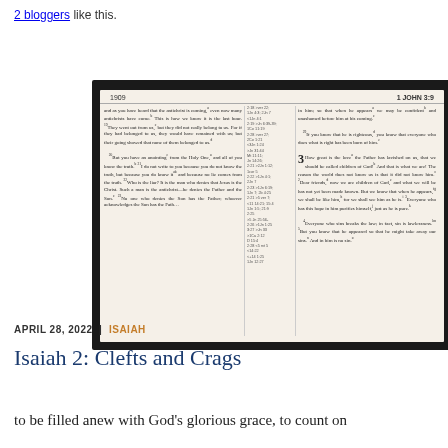2 bloggers like this.
[Figure (photo): Photo of an open Bible showing page 1909 with header '1 JOHN 3:9', showing text from 1 John chapters 2-3 in two columns with cross-references in the middle column.]
APRIL 28, 2022  |  ISAIAH
Isaiah 2: Clefts and Crags
to be filled anew with God's glorious grace, to count on